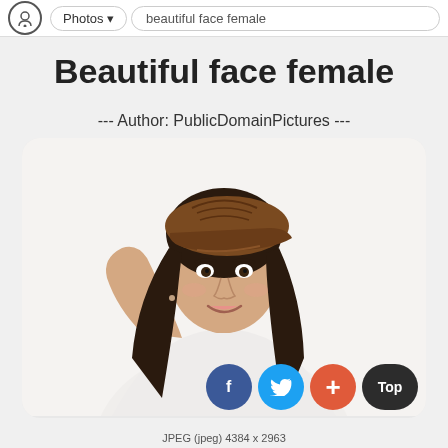Photos | beautiful face female
Beautiful face female
--- Author: PublicDomainPictures ---
[Figure (photo): Young woman smiling, wearing a brown cap and white long-sleeve top, with dark curly hair, hand raised to hat, on white background]
JPEG (jpeg) 4384 x 2963